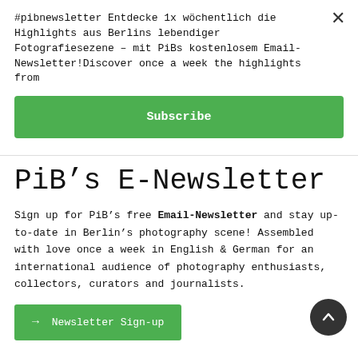#pibnewsletter Entdecke 1x wöchentlich die Highlights aus Berlins lebendiger Fotografiesezene – mit PiBs kostenlosem Email-Newsletter!Discover once a week the highlights from
Subscribe
PiB's E-Newsletter
Sign up for PiB's free Email-Newsletter and stay up-to-date in Berlin's photography scene! Assembled with love once a week in English & German for an international audience of photography enthusiasts, collectors, curators and journalists.
→ Newsletter Sign-up